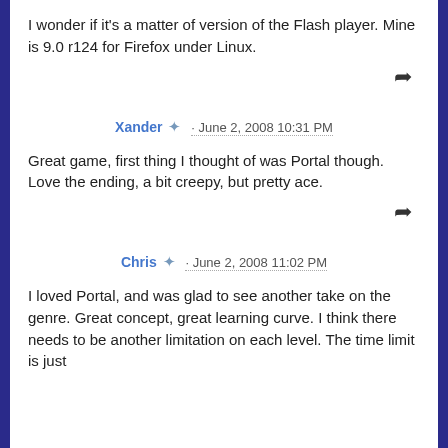I wonder if it's a matter of version of the Flash player. Mine is 9.0 r124 for Firefox under Linux.
Xander · June 2, 2008 10:31 PM
Great game, first thing I thought of was Portal though. Love the ending, a bit creepy, but pretty ace.
Chris · June 2, 2008 11:02 PM
I loved Portal, and was glad to see another take on the genre. Great concept, great learning curve. I think there needs to be another limitation on each level. The time limit is just